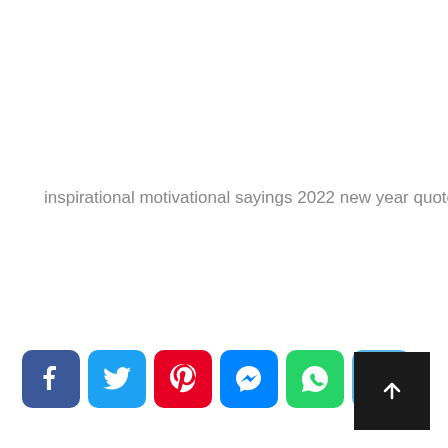inspirational motivational sayings 2022 new year quotes
[Figure (other): Row of social media share buttons: Facebook (blue), Twitter (light blue), Pinterest (red), Messenger (blue), WhatsApp (green), Telegram (light blue), and a dark scroll-to-top arrow button on the right]